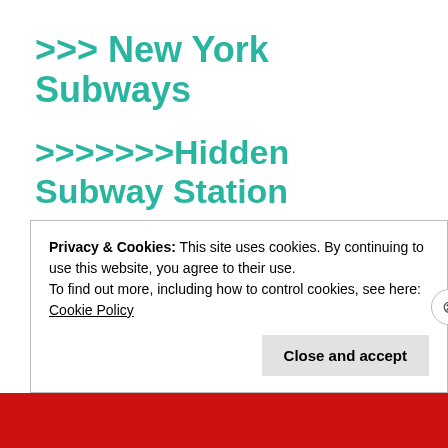>>> New York Subways
>>>>>>>Hidden Subway Station
>>>>>>>Second Avenue Subway
Privacy & Cookies: This site uses cookies. By continuing to use this website, you agree to their use.
To find out more, including how to control cookies, see here: Cookie Policy
Close and accept